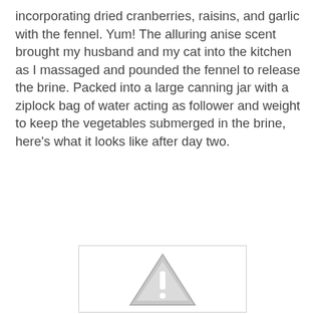incorporating dried cranberries, raisins, and garlic with the fennel. Yum! The alluring anise scent brought my husband and my cat into the kitchen as I massaged and pounded the fennel to release the brine. Packed into a large canning jar with a ziplock bag of water acting as follower and weight to keep the vegetables submerged in the brine, here's what it looks like after day two.
[Figure (photo): Placeholder image with a warning triangle icon (grey triangle with exclamation mark), representing a photo that could not be loaded, showing the fermented fennel in a canning jar after day two.]